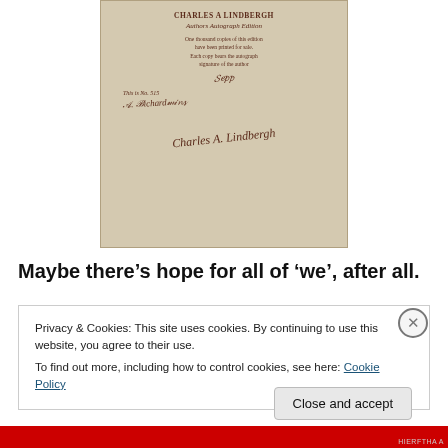[Figure (photo): Photograph of a book's autograph edition page by Charles A. Lindbergh. Text reads 'CHARLES A LINDBERGH', 'Authors Autograph Edition', 'One thousand copies of this edition have been printed for sale. Each copy bears the autograph signature of the author', followed by an autograph signature, 'This is No. 515', a publisher signature, and Charles A. Lindbergh's signature.]
Maybe there’s hope for all of ‘we’, after all.
Privacy & Cookies: This site uses cookies. By continuing to use this website, you agree to their use.
To find out more, including how to control cookies, see here: Cookie Policy